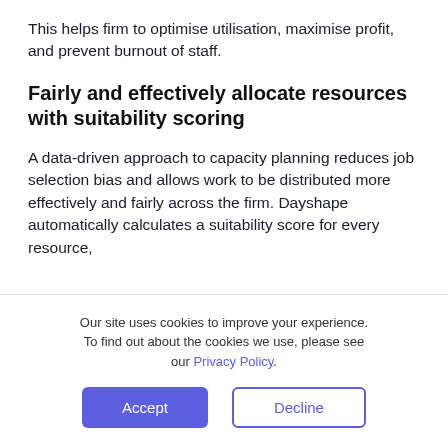This helps firm to optimise utilisation, maximise profit, and prevent burnout of staff.
Fairly and effectively allocate resources with suitability scoring
A data-driven approach to capacity planning reduces job selection bias and allows work to be distributed more effectively and fairly across the firm. Dayshape automatically calculates a suitability score for every resource,
Our site uses cookies to improve your experience. To find out about the cookies we use, please see our Privacy Policy.